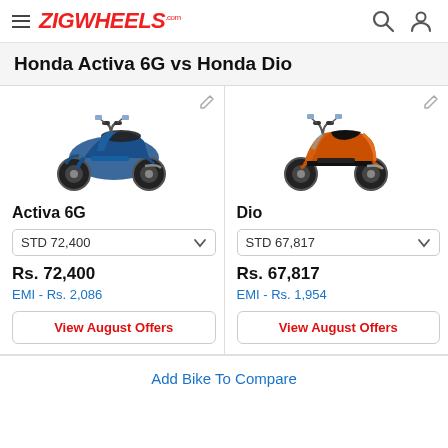ZIGWHEELS.com
Honda Activa 6G vs Honda Dio
[Figure (photo): Honda Activa 6G scooter in blue color]
[Figure (photo): Honda Dio scooter in orange/black color]
Activa 6G
Dio
STD 72,400
STD 67,817
Rs. 72,400
Rs. 67,817
EMI - Rs. 2,086
EMI - Rs. 1,954
View August Offers
View August Offers
Add Bike To Compare